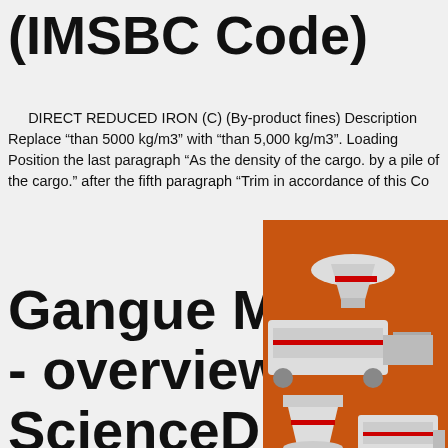(IMSBC Code)
DIRECT REDUCED IRON (C) (By-product fines) Description Replace “than 5000 kg/m3” with “than 5,000 kg/m3”. Loading Position the last paragraph “As the density of the cargo. by a pile of the cargo.” after the fifth paragraph “Trim in accordance of this Co…
Gangue Mineral - overview | ScienceDirect To…
[Figure (photo): Advertisement panel with orange background showing industrial mining/crushing equipment machines and text 'Enjoy 3% discount', 'Click to Chat', 'Enquiry', 'limingjlmofen@sina.com']
If the gangue mineral in an iron ore is predominantly quartz, reverse flotation is usua… the cleaning stage to improve the concentrate… Figure 9.13 presents a typical flow sheet for p… an oxidized iron ore containing about 30% Fe… combination of SLon magnetite separators and reverse flotation. The ore is mainly composed of magnetite…